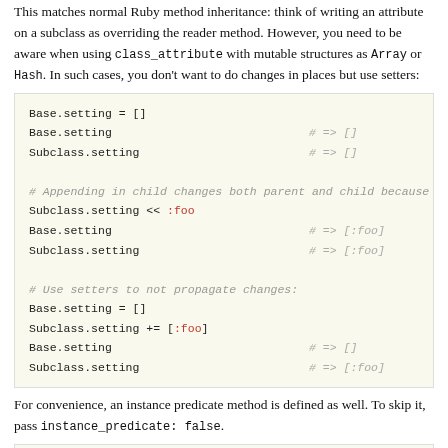This matches normal Ruby method inheritance: think of writing an attribute on a subclass as overriding the reader method. However, you need to be aware when using class_attribute with mutable structures as Array or Hash. In such cases, you don't want to do changes in places but use setters:
[Figure (screenshot): Code block showing Ruby class_attribute usage with mutable structures, Base.setting = [], Base.setting => [], Subclass.setting => [], comment about appending in child changes both parent and child, Subclass.setting << :foo, Base.setting => [:foo], Subclass.setting => [:foo], comment about using setters to not propagate changes, Base.setting = [], Subclass.setting += [:foo], Base.setting => [], Subclass.setting => [:foo]]
For convenience, an instance predicate method is defined as well. To skip it, pass instance_predicate: false.
[Figure (screenshot): Code block showing Subclass.setting? # => false]
Let to propagate it through subclasses is the...